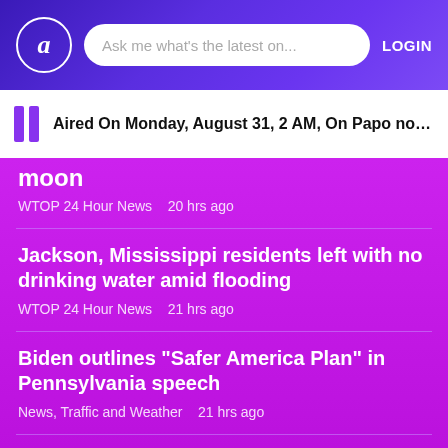a | Ask me what's the latest on... | LOGIN
Aired On Monday, August 31, 2 AM, On Papo no Auge!...
moon
WTOP 24 Hour News   20 hrs ago
Jackson, Mississippi residents left with no drinking water amid flooding
WTOP 24 Hour News   21 hrs ago
Biden outlines "Safer America Plan" in Pennsylvania speech
News, Traffic and Weather   21 hrs ago
Largest federal employee union warns of...